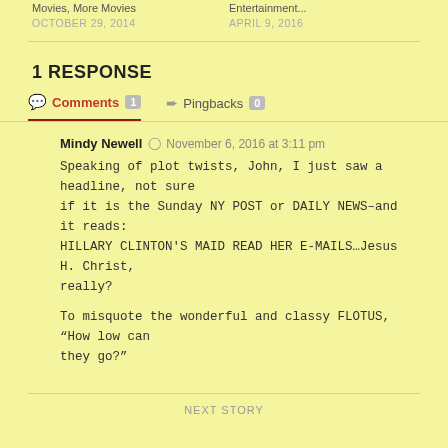Movies, More Movies
Entertainment...
OCTOBER 29, 2014
APRIL 9, 2016
1 RESPONSE
Comments 1   Pingbacks 0
Mindy Newell  November 6, 2016 at 3:11 pm
Speaking of plot twists, John, I just saw a headline, not sure if it is the Sunday NY POST or DAILY NEWS–and it reads: HILLARY CLINTON'S MAID READ HER E-MAILS…Jesus H. Christ, really?

To misquote the wonderful and classy FLOTUS, “How low can they go?”
NEXT STORY